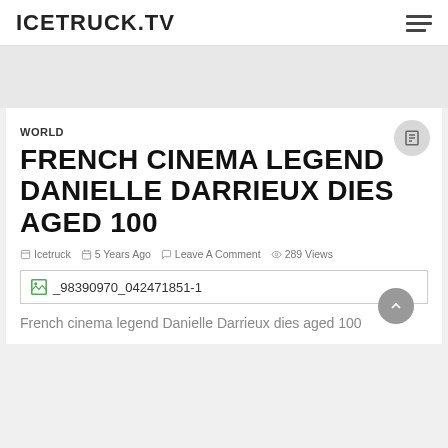ICETRUCK.TV
WORLD
FRENCH CINEMA LEGEND DANIELLE DARRIEUX DIES AGED 100
Icetruck  5 Years Ago  Leave A Comment  289 Views
[Figure (photo): Broken image placeholder showing filename: _98390970_042471851-1]
French cinema legend Danielle Darrieux dies aged 100